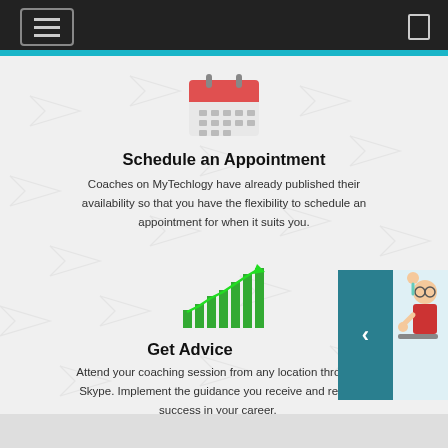[Figure (screenshot): Top navigation bar with hamburger menu icon on left and a small icon on right, dark background]
[Figure (illustration): Calendar icon with red header and grey grid body representing scheduling]
Schedule an Appointment
Coaches on MyTechlogy have already published their availability so that you have the flexibility to schedule an appointment for when it suits you.
[Figure (illustration): Green bar chart with upward trend arrow representing growth/advice]
Get Advice
Attend your coaching session from any location through Skype. Implement the guidance you receive and reach success in your career.
[Figure (illustration): Teal navigation arrow panel on right side with cartoon illustration of person thinking]